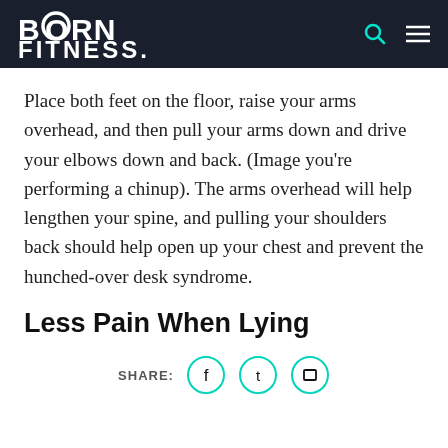BORN FITNESS.
Place both feet on the floor, raise your arms overhead, and then pull your arms down and drive your elbows down and back. (Image you’re performing a chinup). The arms overhead will help lengthen your spine, and pulling your shoulders back should help open up your chest and prevent the hunched-over desk syndrome.
Less Pain When Lying
SHARE: